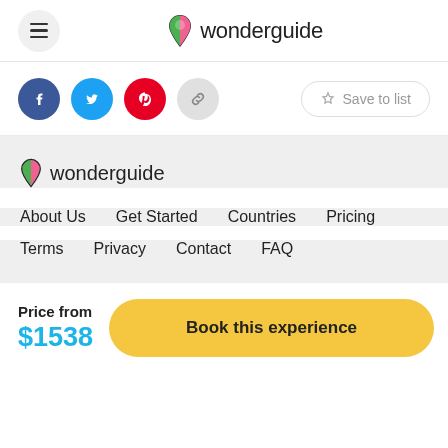[Figure (logo): Wonderguide logo in header with hamburger menu button on the left]
[Figure (infographic): Social share buttons: Facebook, Twitter, Pinterest, Link icon, and Save to list button]
[Figure (logo): Wonderguide footer logo]
About Us    Get Started    Countries    Pricing
Terms    Privacy    Contact    FAQ
Price from $1538
Book this experience